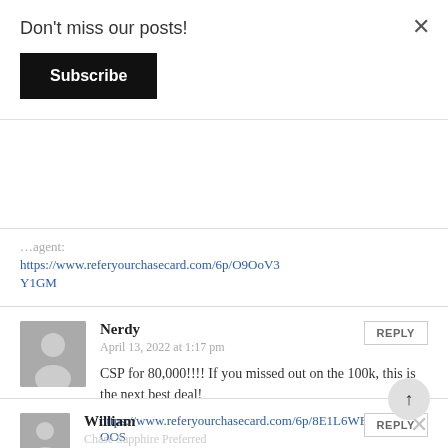Don't miss our posts!
Subscribe
https://www.referyourchasecard.com/6p/O9OoV3Y1GM
Nerdy
April 13, 2022 at 1:17 pm
CSP for 80,000!!!! If you missed out on the 100k, this is the next best deal!
https://www.referyourchasecard.com/6p/8E1L6WEOOS
William
Chase Sapphire Preferred